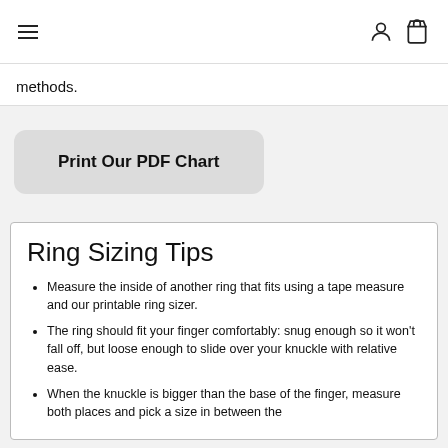Navigation header with hamburger menu, user icon, and shopping bag icon
methods.
Print Our PDF Chart
Ring Sizing Tips
Measure the inside of another ring that fits using a tape measure and our printable ring sizer.
The ring should fit your finger comfortably: snug enough so it won't fall off, but loose enough to slide over your knuckle with relative ease.
When the knuckle is bigger than the base of the finger, measure both places and pick a size in between the